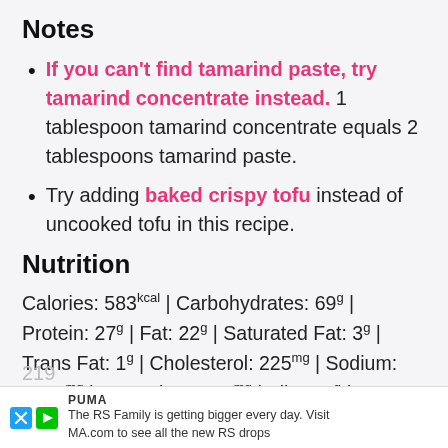Notes
If you can't find tamarind paste, try tamarind concentrate instead. 1 tablespoon tamarind concentrate equals 2 tablespoons tamarind paste.
Try adding baked crispy tofu instead of uncooked tofu in this recipe.
Nutrition
Calories: 583kcal | Carbohydrates: 69g | Protein: 27g | Fat: 22g | Saturated Fat: 3g | Trans Fat: 1g | Cholesterol: 225mg | Sodium: 1656mg | Potassium: 374mg | Fiber: 4g | Sugar: 16g | Vitamin A: 369IU | Vitamin C: 10mg | Calcium: 219
PUMA — The RS Family is getting bigger every day. Visit MA.com to see all the new RS drops